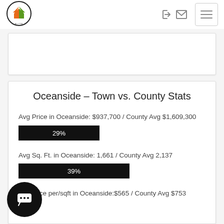[Figure (logo): County Realty Elite circular logo with house icon in orange and green]
Oceanside - Town vs. County Stats
Avg Price in Oceanside: $937,700 / County Avg $1,609,300
[Figure (bar-chart): Avg Price percentage bar]
Avg Sq. Ft. in Oceanside: 1,661 / County Avg 2,137
[Figure (bar-chart): Avg Sq Ft percentage bar]
Avg price per/sqft in Oceanside:$565 / County Avg $753